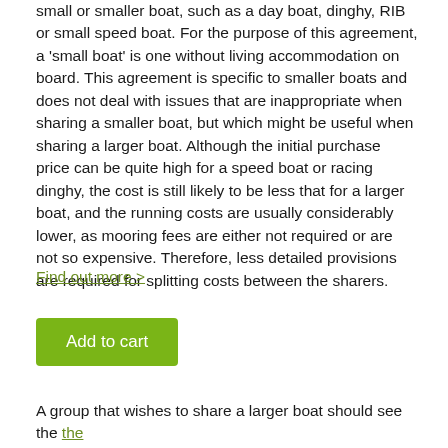small or smaller boat, such as a day boat, dinghy, RIB or small speed boat. For the purpose of this agreement, a 'small boat' is one without living accommodation on board. This agreement is specific to smaller boats and does not deal with issues that are inappropriate when sharing a smaller boat, but which might be useful when sharing a larger boat. Although the initial purchase price can be quite high for a speed boat or racing dinghy, the cost is still likely to be less that for a larger boat, and the running costs are usually considerably lower, as mooring fees are either not required or are not so expensive. Therefore, less detailed provisions are required for splitting costs between the sharers.
Find out more >
Add to cart
A group that wishes to share a larger boat should see the